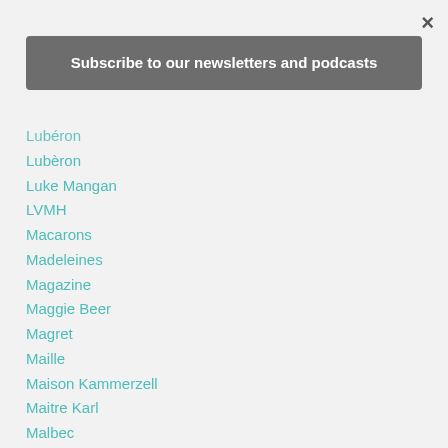×
Subscribe to our newsletters and podcasts
Lubéron
Lubèron
Luke Mangan
LVMH
Macarons
Madeleines
Magazine
Maggie Beer
Magret
Maille
Maison Kammerzell
Maitre Karl
Malbec
Mama's Buoi
Map
Marais
Marcello Ocello